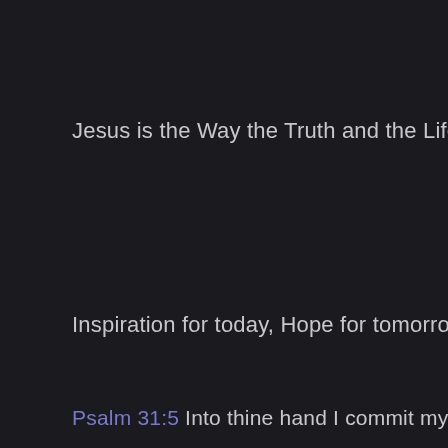Jesus is the Way the Truth and the Life
Inspiration for today, Hope for tomorrow
Psalm 31:5 Into thine hand I commit my spirit: thou